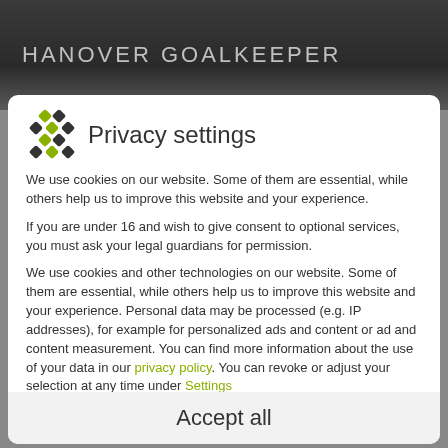[Figure (screenshot): Dark banner with text HANOVER GOALKEEPER in light gray uppercase letters]
Privacy settings
We use cookies on our website. Some of them are essential, while others help us to improve this website and your experience.
If you are under 16 and wish to give consent to optional services, you must ask your legal guardians for permission.
We use cookies and other technologies on our website. Some of them are essential, while others help us to improve this website and your experience. Personal data may be processed (e.g. IP addresses), for example for personalized ads and content or ad and content measurement. You can find more information about the use of your data in our privacy policy. You can revoke or adjust your selection at any time under Settings.
Essential
Statistics
External Media
Accept all